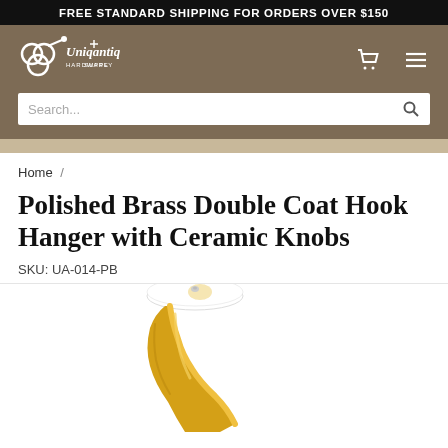FREE STANDARD SHIPPING FOR ORDERS OVER $150
[Figure (logo): Uniqantiq Hardware Supply logo in white on brown background with decorative key and lock icon]
Search...
Home /
Polished Brass Double Coat Hook Hanger with Ceramic Knobs
SKU: UA-014-PB
[Figure (photo): Close-up photo of a polished brass double coat hook hanger with a white ceramic knob on a white background]